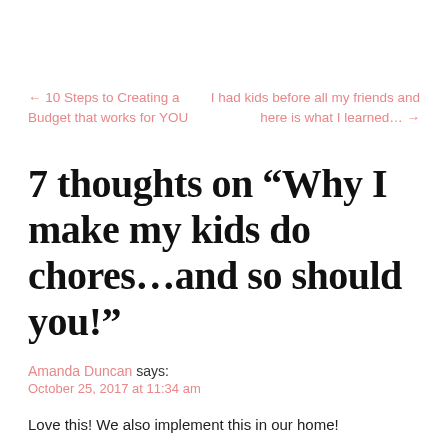← 10 Steps to Creating a Budget that works for YOU
I had kids before all my friends and here is what I learned... →
7 thoughts on “Why I make my kids do chores…and so should you!”
Amanda Duncan says:
October 25, 2017 at 11:34 am
Love this! We also implement this in our home!